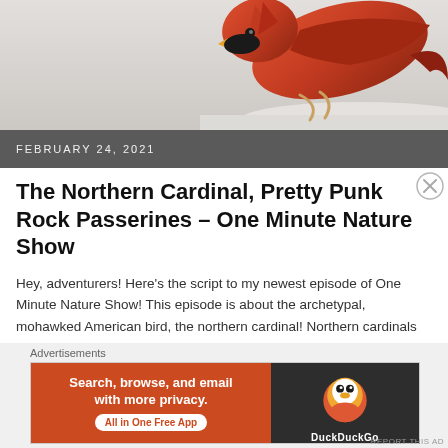[Figure (photo): Partial view of a northern cardinal bird (red plumage) perched, shown from above/side, on a light gray/white snowy background.]
FEBRUARY 24, 2021
The Northern Cardinal, Pretty Punk Rock Passerines – One Minute Nature Show
Hey, adventurers! Here's the script to my newest episode of One Minute Nature Show! This episode is about the archetypal, mohawked American bird, the northern cardinal! Northern cardinals are small ...
CONTINUE READING
[Figure (screenshot): DuckDuckGo advertisement banner: 'Search, browse, and email with more privacy. All in One Free App' with DuckDuckGo logo on dark background.]